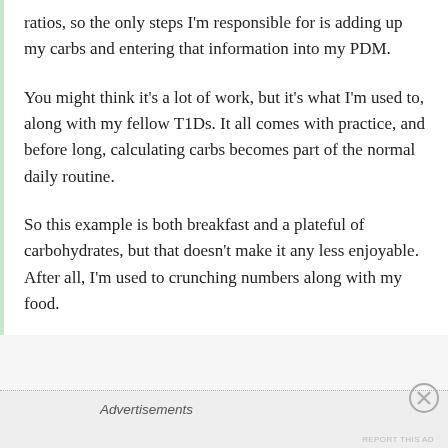ratios, so the only steps I'm responsible for is adding up my carbs and entering that information into my PDM.
You might think it's a lot of work, but it's what I'm used to, along with my fellow T1Ds. It all comes with practice, and before long, calculating carbs becomes part of the normal daily routine.
So this example is both breakfast and a plateful of carbohydrates, but that doesn't make it any less enjoyable. After all, I'm used to crunching numbers along with my food.
Advertisements